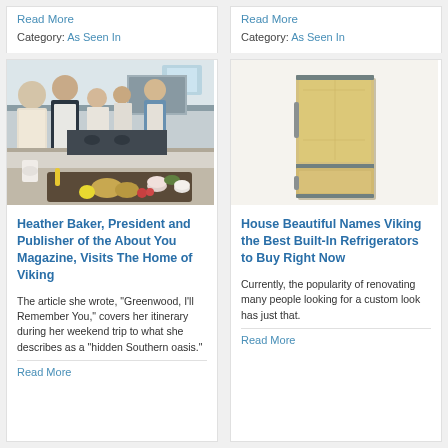Read More
Category: As Seen In
Read More
Category: As Seen In
[Figure (photo): Group of people in aprons at a cooking class in a kitchen, with a tray of food items in the foreground including potatoes, a lemon, radishes, and bowls.]
Heather Baker, President and Publisher of the About You Magazine, Visits The Home of Viking
The article she wrote, "Greenwood, I'll Remember You," covers her itinerary during her weekend trip to what she describes as a "hidden Southern oasis."
Read More
[Figure (photo): A light wood-paneled built-in refrigerator with a bottom freezer drawer, shown against a white background.]
House Beautiful Names Viking the Best Built-In Refrigerators to Buy Right Now
Currently, the popularity of renovating many people looking for a custom look has just that.
Read More